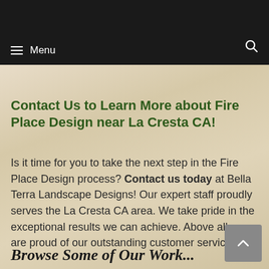Menu
Contact Us to Learn More about Fire Place Design near La Cresta CA!
Is it time for you to take the next step in the Fire Place Design process? Contact us today at Bella Terra Landscape Designs! Our expert staff proudly serves the La Cresta CA area. We take pride in the exceptional results we can achieve. Above all, we are proud of our outstanding customer service!
Browse Some of Our Work...